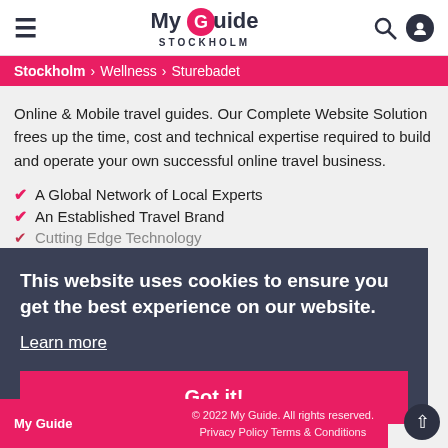My Guide Stockholm
Stockholm > Wellness > Sturebadet
Online & Mobile travel guides. Our Complete Website Solution frees up the time, cost and technical expertise required to build and operate your own successful online travel business.
A Global Network of Local Experts
An Established Travel Brand
Cutting Edge Technology
This website uses cookies to ensure you get the best experience on our website.
Learn more
Got it!
© 2022 My Guide. All rights reserved. Privacy Policy Terms & Conditions